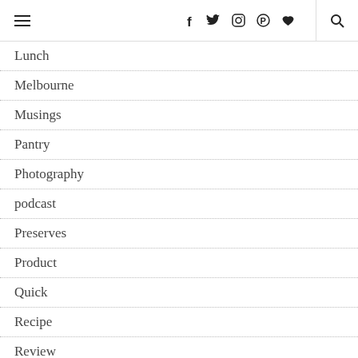☰ f t ⊙ ℗ ♥ 🔍
Lunch
Melbourne
Musings
Pantry
Photography
podcast
Preserves
Product
Quick
Recipe
Review
Review
Round Up